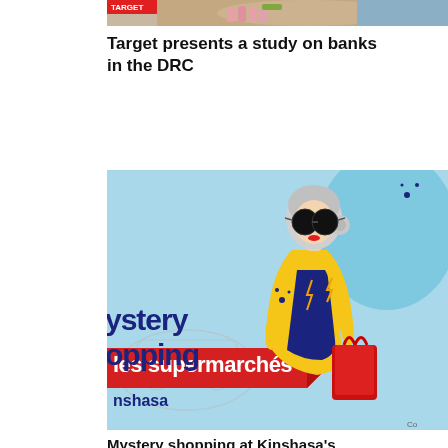[Figure (photo): Partial top image, cropped, showing a person with pink nails and colorful attire against a background]
Target presents a study on banks in the DRC
[Figure (illustration): Mystery shopping illustration featuring a stylized woman with large black sunglasses, grey hair, yellow coat, dark blue shirt, holding a red shopping bag. Text on left reads 'Mystery shopping les supermarchés Kinshasa' on a red banner. Light blue background.]
Mystery shopping at Kinshasa's